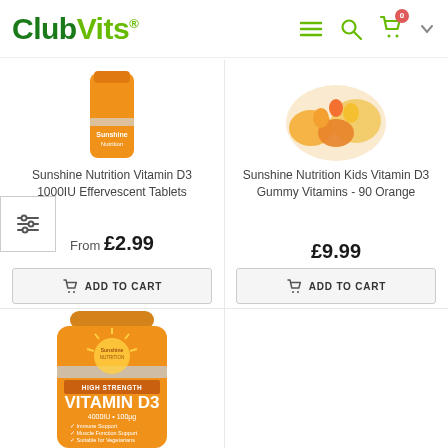ClubVits
[Figure (photo): Sunshine Nutrition Vitamin D3 1000IU Effervescent Tablets product image (orange bottle top visible)]
Sunshine Nutrition Vitamin D3 1000IU Effervescent Tablets
From £2.99
ADD TO CART
[Figure (photo): Sunshine Nutrition Kids Vitamin D3 Gummy Vitamins - 90 Orange product image (orange gummies with citrus slices)]
Sunshine Nutrition Kids Vitamin D3 Gummy Vitamins - 90 Orange
£9.99
ADD TO CART
[Figure (photo): Sunshine Nutrition High Strength Vitamin D3 4000IU orange bottle product image - bottom of page left]
[Figure (photo): ClubVits Vitamin D Gummies and Multivitamin Gummies product image - bottom of page right, with -13% discount badge]